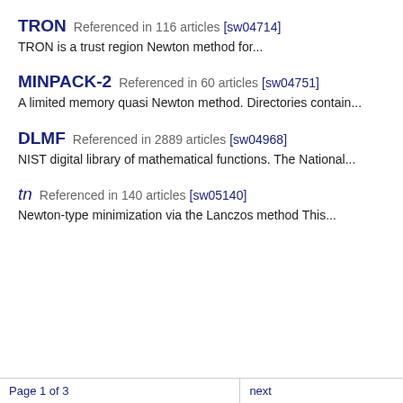TRON  Referenced in 116 articles  [sw04714]
TRON is a trust region Newton method for...
MINPACK-2  Referenced in 60 articles  [sw04751]
A limited memory quasi Newton method. Directories contain...
DLMF  Referenced in 2889 articles  [sw04968]
NIST digital library of mathematical functions. The National...
tn  Referenced in 140 articles  [sw05140]
Newton-type minimization via the Lanczos method This...
Page 1 of 3   next